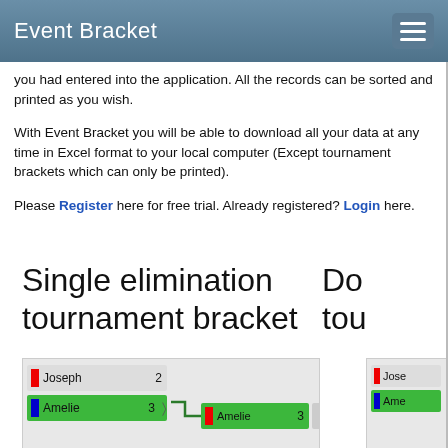Event Bracket
you had entered into the application. All the records can be sorted and printed as you wish.
With Event Bracket you will be able to download all your data at any time in Excel format to your local computer (Except tournament brackets which can only be printed).
Please Register here for free trial. Already registered? Login here.
Single elimination tournament bracket
Do... tou...
[Figure (screenshot): Tournament bracket preview showing Joseph with score 2 (red flag) and Amelie with score 3 (blue flag, green row), with Amelie advancing showing score 3 and '2nd' label, with cursor hand icon.]
[Figure (screenshot): Partial tournament bracket preview on the right showing Joseph and Amelie rows (cropped).]